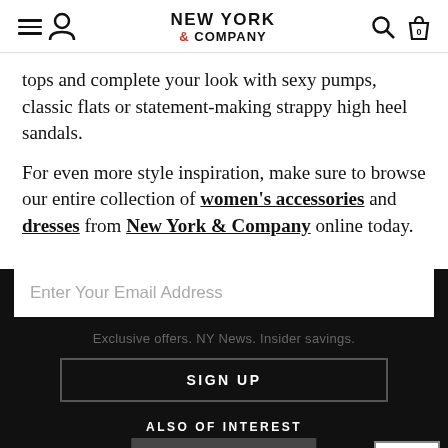NEW YORK & COMPANY
tops and complete your look with sexy pumps, classic flats or statement-making strappy high heel sandals.
For even more style inspiration, make sure to browse our entire collection of women's accessories and dresses from New York & Company online today.
Enter Your Email Address
Exclusive offers. NY News. Insider savings.
SIGN UP
ALSO OF INTEREST
FACE MAS... JACKE...
TODAY'S DEALS
Chat